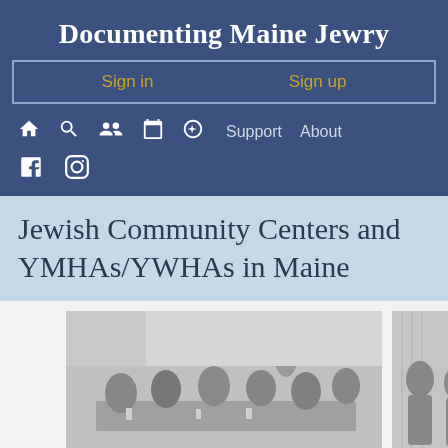Documenting Maine Jewry
Sign in   Sign up
🏠 🔍 👥 📅 🧭 Support About
Facebook Instagram
Jewish Community Centers and YMHAs/YWHAs in Maine
[Figure (photo): Black and white photograph of a group of people seated at a banquet or formal dinner table, dressed in formal attire]
[Figure (photo): Black and white photograph partially visible on right edge, showing people standing, possibly at an event]